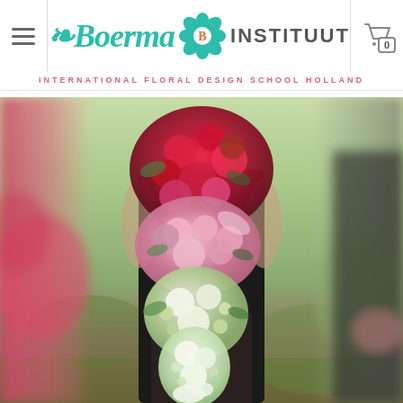Boerma Instituut – International Floral Design School Holland
[Figure (photo): A person in a black outfit holding a large cascading bridal bouquet that transitions from deep red and pink flowers at the top to white and green flowers at the bottom, photographed outdoors in a garden setting. Blurred floral elements appear on both sides of the image.]